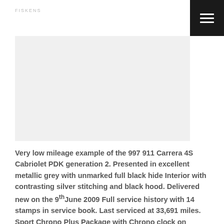[Figure (photo): Car listing website page showing a header with navigation menu button (hamburger icon on black background) and a large vehicle photo area (Porsche 911 Carrera 4S Cabriolet)]
Very low mileage example of the 997 911 Carrera 4S Cabriolet PDK generation 2. Presented in excellent metallic grey with unmarked full black hide Interior with contrasting silver stitching and black hood. Delivered new on the 9th June 2009 Full service history with 14 stamps in service book. Last serviced at 33,691 miles. Sport Chrono Plus Package with Chrono clock on dashboard. Current mileage is 35,000